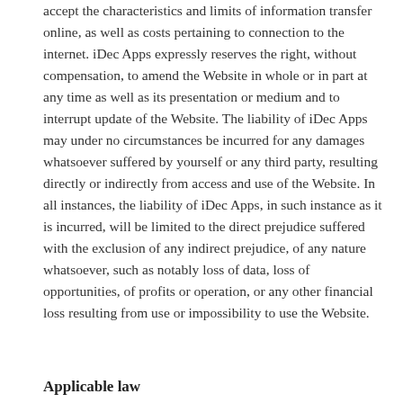accept the characteristics and limits of information transfer online, as well as costs pertaining to connection to the internet. iDec Apps expressly reserves the right, without compensation, to amend the Website in whole or in part at any time as well as its presentation or medium and to interrupt update of the Website. The liability of iDec Apps may under no circumstances be incurred for any damages whatsoever suffered by yourself or any third party, resulting directly or indirectly from access and use of the Website. In all instances, the liability of iDec Apps, in such instance as it is incurred, will be limited to the direct prejudice suffered with the exclusion of any indirect prejudice, of any nature whatsoever, such as notably loss of data, loss of opportunities, of profits or operation, or any other financial loss resulting from use or impossibility to use the Website.
Applicable law